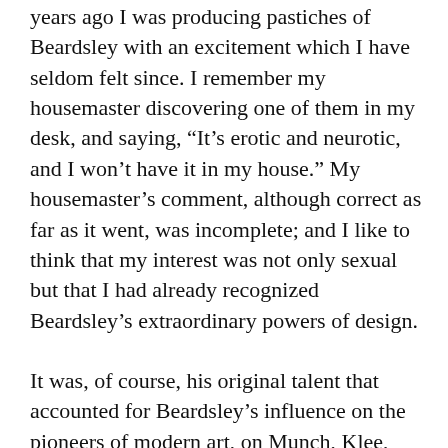years ago I was producing pastiches of Beardsley with an excitement which I have seldom felt since. I remember my housemaster discovering one of them in my desk, and saying, “It’s erotic and neurotic, and I won’t have it in my house.” My housemaster’s comment, although correct as far as it went, was incomplete; and I like to think that my interest was not only sexual but that I had already recognized Beardsley’s extraordinary powers of design.
It was, of course, his original talent that accounted for Beardsley’s influence on the pioneers of modern art, on Munch, Klee, Kandinsky, Diaghilev, and Picasso himself, to say nothing of such minor artists as Félix Vallotton; all owe a demonstrable debt to Beardsley. It is a formidable list, and I think justifies us in taking a fresh look at an artist who, if he is